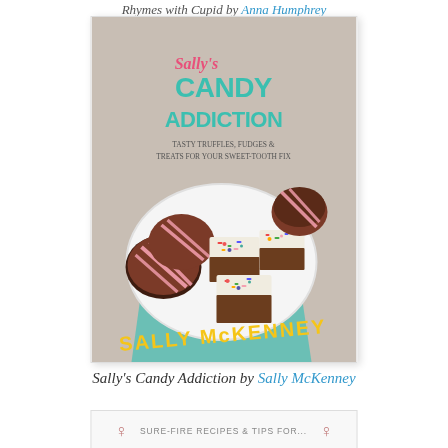Rhymes with Cupid by Anna Humphrey
[Figure (photo): Book cover of Sally's Candy Addiction by Sally McKenney, showing candy truffles, fudges, and treats on a plate with colorful sprinkles and chocolate coatings.]
Sally's Candy Addiction by Sally McKenney
[Figure (photo): Partial view of another book cover showing 'Sure-fire recipes & tips for...' text with decorative icons.]